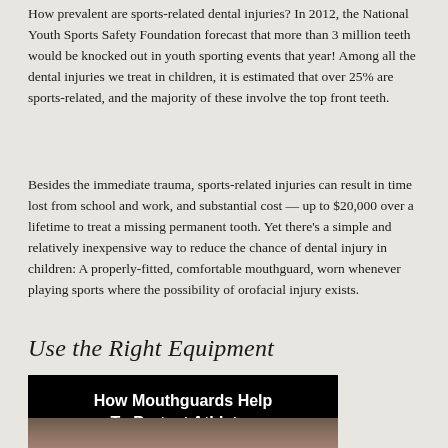How prevalent are sports-related dental injuries? In 2012, the National Youth Sports Safety Foundation forecast that more than 3 million teeth would be knocked out in youth sporting events that year! Among all the dental injuries we treat in children, it is estimated that over 25% are sports-related, and the majority of these involve the top front teeth.
Besides the immediate trauma, sports-related injuries can result in time lost from school and work, and substantial cost — up to $20,000 over a lifetime to treat a missing permanent tooth. Yet there's a simple and relatively inexpensive way to reduce the chance of dental injury in children: A properly-fitted, comfortable mouthguard, worn whenever playing sports where the possibility of orofacial injury exists.
Use the Right Equipment
[Figure (photo): Dark/black banner image with bold white text reading 'How Mouthguards Help To Protect Athletes' above a partial photo of a person's face]